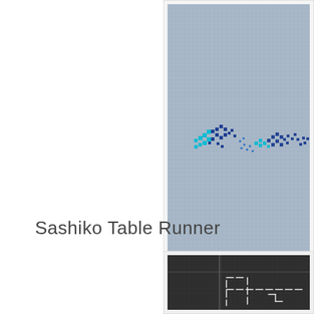[Figure (photo): Close-up photo of cross-stitch embroidery on grey-blue fabric showing blue and turquoise floral/bird motifs in a row]
Sashiko Table Runner
[Figure (photo): Close-up photo of dark charcoal/navy fabric showing white sashiko stitching pattern in a grid-like geometric design]